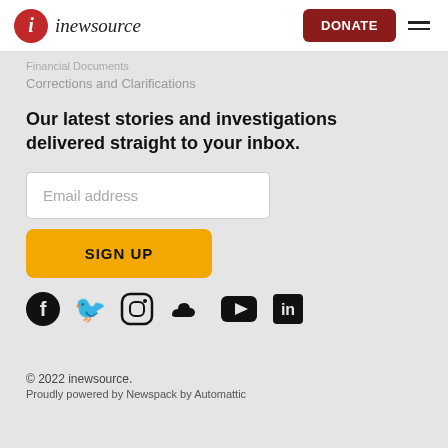inewsource — DONATE
Financial Documents
Corrections and Clarifications
Our latest stories and investigations delivered straight to your inbox.
Email address
SIGN UP
[Figure (infographic): Social media icons: Facebook, Twitter, Instagram, SoundCloud, YouTube, LinkedIn]
© 2022 inewsource.
Proudly powered by Newspack by Automattic